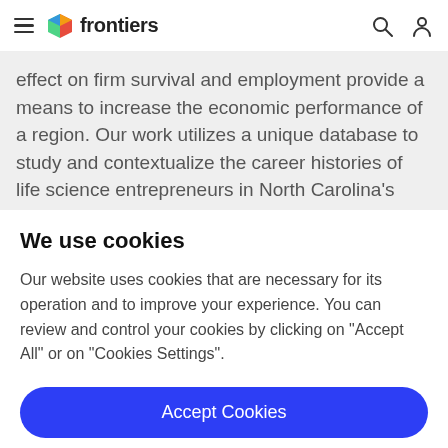frontiers
effect on firm survival and employment provide a means to increase the economic performance of a region. Our work utilizes a unique database to study and contextualize the career histories of life science entrepreneurs in North Carolina's Research Triangle region. These data enable us
We use cookies
Our website uses cookies that are necessary for its operation and to improve your experience. You can review and control your cookies by clicking on "Accept All" or on "Cookies Settings".
Accept Cookies
Cookies Settings